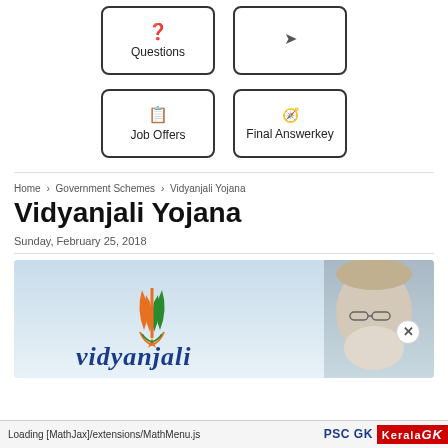[Figure (infographic): Navigation button cards: 'Questions' and a second button (partially visible) in top row; 'Job Offers' and 'Final Answerkey' in second row, each in a rounded rectangle border with an icon.]
Home > Government Schemes > Vidyanjali Yojana
Vidyanjali Yojana
Sunday, February 25, 2018
[Figure (photo): Vidyanjali Yojana banner image with blue background, showing the Vidyanjali logo (orange and green torch/book motif), the 'vidyanjali' text logo in blue cursive, and a photo of PM Narendra Modi on the right side.]
Loading [MathJax]/extensions/MathMenu.js    PSC GK   Kerala [logo]